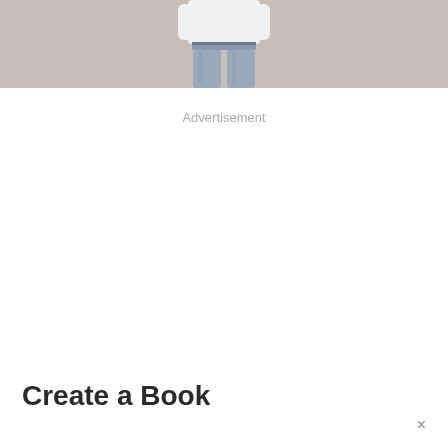[Figure (photo): Cropped photo showing the lower body of a person wearing a white t-shirt and jeans, against a grey background]
Advertisement
Create a Book
×